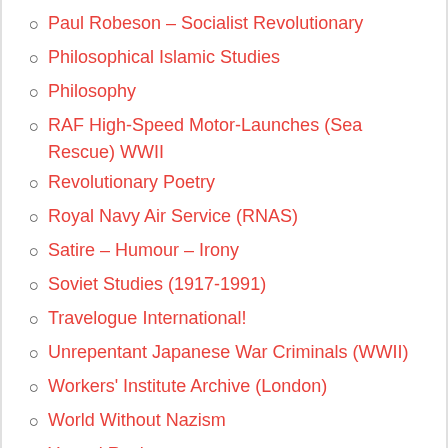Paul Robeson – Socialist Revolutionary
Philosophical Islamic Studies
Philosophy
RAF High-Speed Motor-Launches (Sea Rescue) WWII
Revolutionary Poetry
Royal Navy Air Service (RNAS)
Satire – Humour – Irony
Soviet Studies (1917-1991)
Travelogue International!
Unrepentant Japanese War Criminals (WWII)
Workers' Institute Archive (London)
World Without Nazism
Yanagi Ryuken